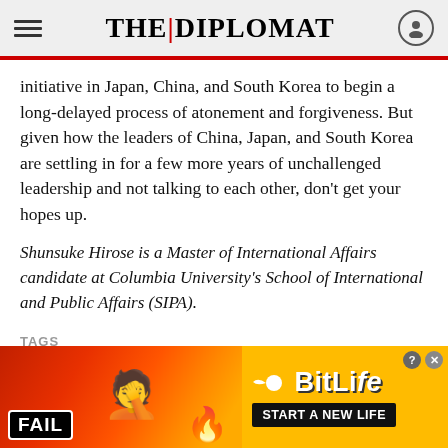THE DIPLOMAT
initiative in Japan, China, and South Korea to begin a long-delayed process of atonement and forgiveness. But given how the leaders of China, Japan, and South Korea are settling in for a few more years of unchallenged leadership and not talking to each other, don't get your hopes up.
Shunsuke Hirose is a Master of International Affairs candidate at Columbia University's School of International and Public Affairs (SIPA).
TAGS
[Figure (photo): BitLife advertisement banner with 'FAIL' badge, animated emoji facepalm illustration, flames, and 'START A NEW LIFE' call to action on yellow background]